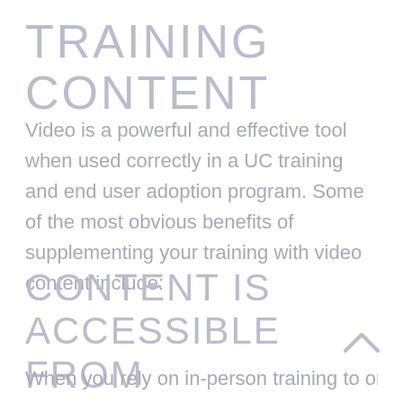TRAINING CONTENT
Video is a powerful and effective tool when used correctly in a UC training and end user adoption program. Some of the most obvious benefits of supplementing your training with video content include:
CONTENT IS ACCESSIBLE FROM ANYWHERE
When you rely on in-person training to orient